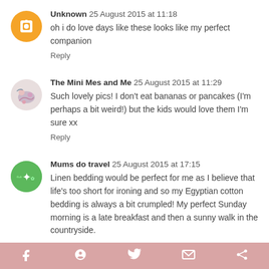Unknown  25 August 2015 at 11:18
oh i do love days like these looks like my perfect companion
Reply
The Mini Mes and Me  25 August 2015 at 11:29
Such lovely pics! I don't eat bananas or pancakes (I'm perhaps a bit weird!) but the kids would love them I'm sure xx
Reply
Mums do travel  25 August 2015 at 17:15
Linen bedding would be perfect for me as I believe that life's too short for ironing and so my Egyptian cotton bedding is always a bit crumpled! My perfect Sunday morning is a late breakfast and then a sunny walk in the countryside.
Reply
f  P  Twitter  Email  More